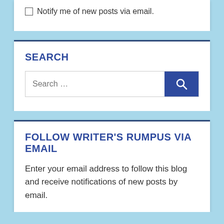Notify me of new posts via email.
SEARCH
[Figure (screenshot): Search input field with placeholder text 'Search ...' and a blue search button with magnifying glass icon]
FOLLOW WRITER'S RUMPUS VIA EMAIL
Enter your email address to follow this blog and receive notifications of new posts by email.